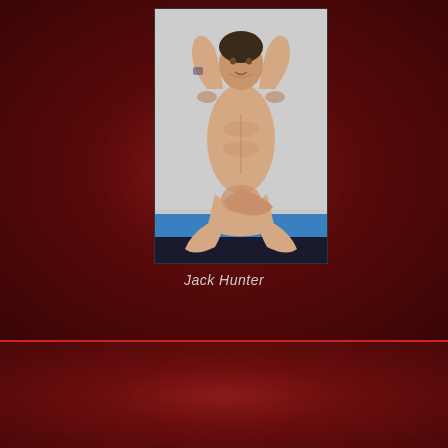[Figure (photo): Shirtless male figure seated on blue surface against silver background]
Jack Hunter
Top Hot Amateurs!
[Figure (photo): Partial photo of male figure, cropped at bottom of page]